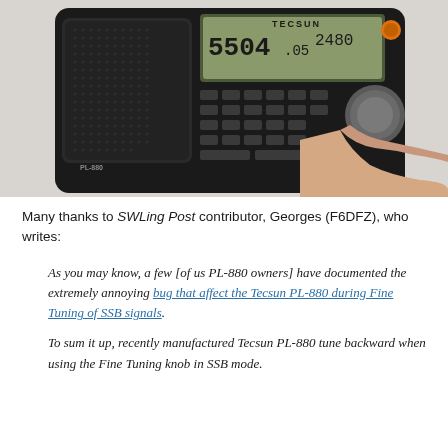[Figure (photo): Photo of a Tecsun PL-880 portable shortwave radio being held and tuned by a hand. The radio displays '5504.05' and '2480' on its LCD screen. The radio is black with multiple buttons and a tuning knob on the right side. The brand name TECSUN is visible at the top.]
Many thanks to SWLing Post contributor, Georges (F6DFZ), who writes:
As you may know, a few [of us PL-880 owners] have documented the extremely annoying bug that affect the Tecsun PL-880 during Fine Tuning of SSB signals.
To sum it up, recently manufactured Tecsun PL-880 tune backward when using the Fine Tuning knob in SSB mode.